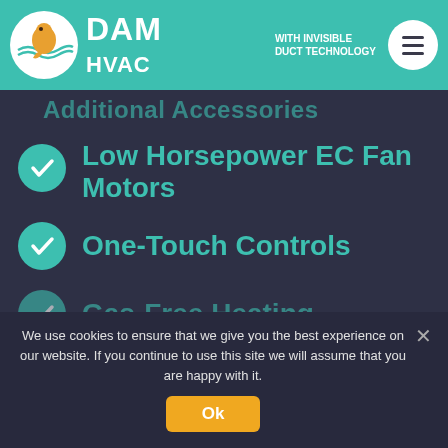DAM HVAC WITH INVISIBLE DUCT TECHNOLOGY
Additional Accessories
Low Horsepower EC Fan Motors
One-Touch Controls
Gas-Free Heating
We use cookies to ensure that we give you the best experience on our website. If you continue to use this site we will assume that you are happy with it.